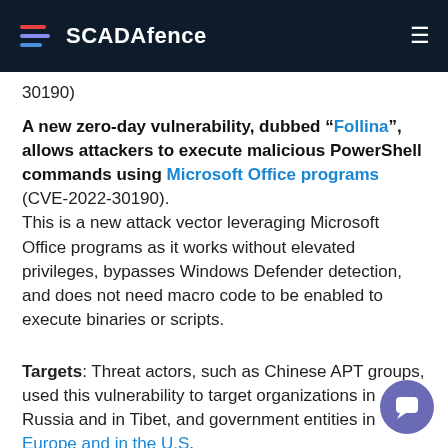SCADAfence
30190)
A new zero-day vulnerability, dubbed “Follina”, allows attackers to execute malicious PowerShell commands using Microsoft Office programs (CVE-2022-30190). This is a new attack vector leveraging Microsoft Office programs as it works without elevated privileges, bypasses Windows Defender detection, and does not need macro code to be enabled to execute binaries or scripts.
Targets: Threat actors, such as Chinese APT groups, used this vulnerability to target organizations in Russia and in Tibet, and government entities in Europe and in the U.S.